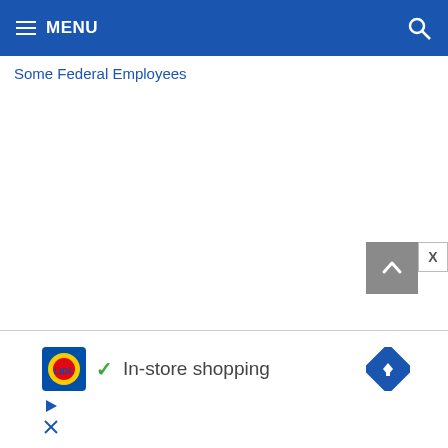MENU
Some Federal Employees
[Figure (screenshot): Scroll-to-top button (gray square with upward arrow chevron) and a close X button]
[Figure (screenshot): Lidl advertisement banner showing Lidl logo, green checkmark, 'In-store shopping' text, and navigation arrow icon with play/close ad controls]